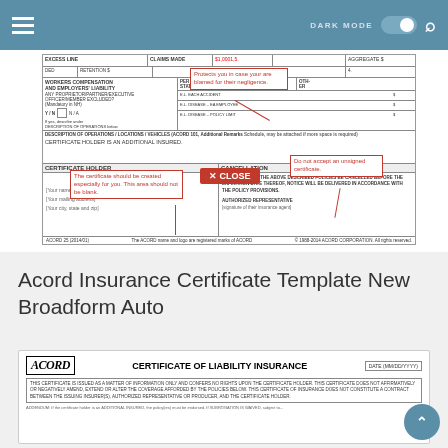DARK MODE [toggle] [search]
[Figure (screenshot): Partial ACORD 25 Certificate of Liability Insurance form showing workers compensation section, certificate holder, cancellation section, and annotated callout boxes with tips: 'Protects you in case your are blamed for their negligence.', 'The certificate should be created especially for you. This area should not be blank.', 'Do not accept an unsigned certificate.' with a red CLOSE button overlay.]
Acord Insurance Certificate Template New Broadform Auto
[Figure (screenshot): Preview of ACORD 25 (2014/01) Certificate of Liability Insurance form showing the ACORD logo, certificate title, date field, and disclaimer text about certificate of insurance not constituting a contract.]